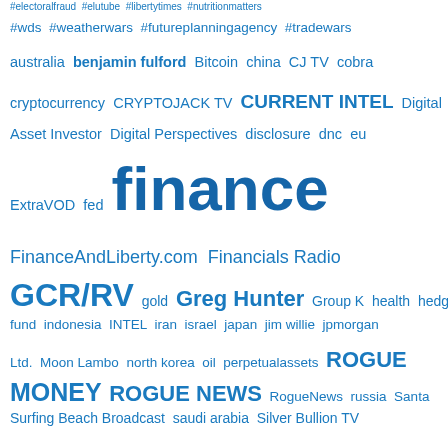[Figure (infographic): Word cloud of finance-related tags and topics in blue, varying font sizes to indicate frequency/importance. Terms include: #wds, #weatherwars, #futureplanningagency, #tradewars, australia, benjamin fulford, Bitcoin, china, CJ TV, cobra, cryptocurrency, CRYPTOJACK TV, CURRENT INTEL, Digital Asset Investor, Digital Perspectives, disclosure, dnc, eu, ExtraVOD, fed, finance (largest), FinanceAndLiberty.com, Financials Radio, GCR/RV, gold, Greg Hunter, Group K, health, hedge fund, indonesia, INTEL, iran, israel, japan, jim willie, jpmorgan Ltd., Moon Lambo, north korea, oil, perpetualassets, ROGUE MONEY, ROGUE NEWS, RogueNews, russia, Santa Surfing Beach Broadcast, saudi arabia, Silver Bullion TV, SilverDoctors, Silver The Antidote, stock market, syria, The Bearable Bull, THE ELIJAH K. JOHNSON REPORT, THE XRP]